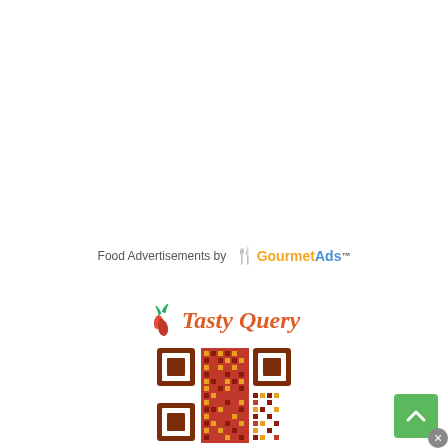Food Advertisements by GourmetAds™
[Figure (logo): Tasty Query logo with chili pepper icon and italic red-orange text]
[Figure (other): QR code for Tasty Query website, dark red and orange pixel pattern]
[Figure (other): Green scroll-to-top button with upward arrow chevron, and grey close button]